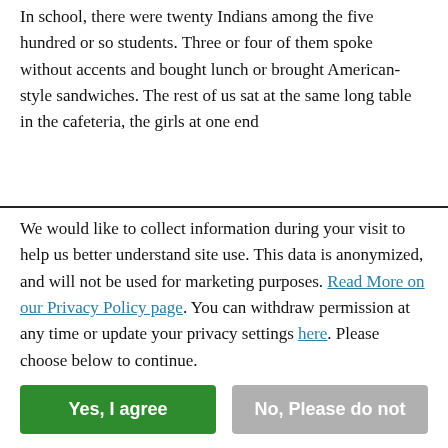In school, there were twenty Indians among the five hundred or so students. Three or four of them spoke without accents and bought lunch or brought American-style sandwiches. The rest of us sat at the same long table in the cafeteria, the girls at one end
We would like to collect information during your visit to help us better understand site use. This data is anonymized, and will not be used for marketing purposes. Read More on our Privacy Policy page. You can withdraw permission at any time or update your privacy settings here. Please choose below to continue.